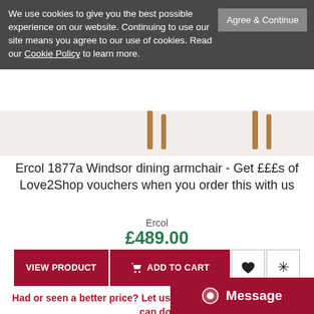We use cookies to give you the best possible experience on our website. Continuing to use our site means you agree to our use of cookies. Read our Cookie Policy to learn more.
Agree & Continue
[Figure (photo): Partial view of wooden chair legs at top of page]
Ercol 1877a Windsor dining armchair - Get £££s of Love2Shop vouchers when you order this with us
Ercol
£489.00
VIEW PRODUCT
ADD TO CART
Had or seen a better price? Let us know and we'll see what we can do!
[Figure (photo): Partial view of wooden chair at bottom of page]
Message